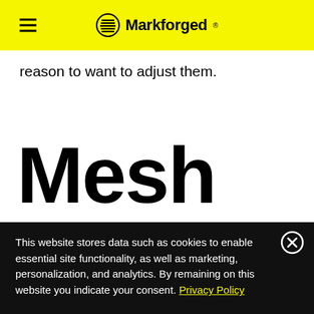Markforged
reason to want to adjust them.
Mesh Quality
This website stores data such as cookies to enable essential site functionality, as well as marketing, personalization, and analytics. By remaining on this website you indicate your consent. Privacy Policy